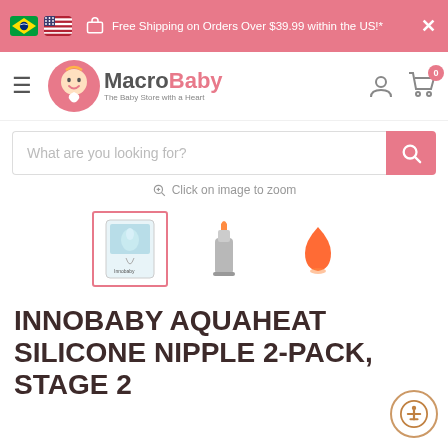Free Shipping on Orders Over $39.99 within the US!*
[Figure (logo): MacroBaby logo - baby face with heart, text 'MacroBaby The Baby Store with a Heart']
[Figure (screenshot): Search bar with placeholder 'What are you looking for?' and pink search button]
Click on image to zoom
[Figure (photo): Three product thumbnail images: selected thumbnail showing Innobaby Aquaheat Silicone Nipple package, second thumbnail showing bottle with nipple, third thumbnail showing nipple/droplet icon]
INNOBABY AQUAHEAT SILICONE NIPPLE 2-PACK, STAGE 2